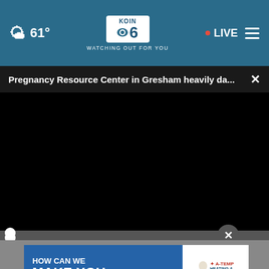61° KOIN 6 CBS WATCHING OUT FOR YOU • LIVE
Pregnancy Resource Center in Gresham heavily da... ×
[Figure (screenshot): Black video player area with playback controls: play button, mute button, 00:00 timestamp, CC button, and fullscreen button. A progress bar with a white circle thumb is visible.]
Sursell
[Figure (other): Advertisement banner: HOW CAN WE MAKE YOU with A-TEMP logo on white background]
HOW CAN WE MAKE YOU | A-TEMP